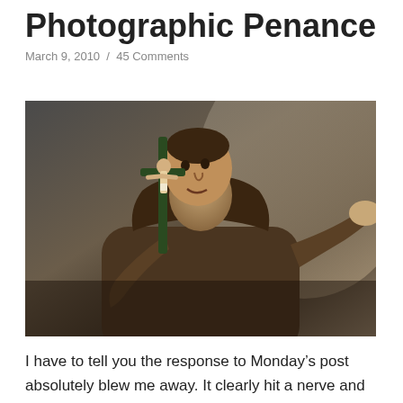Photographic Penance
March 9, 2010  /  45 Comments
[Figure (photo): A statue of a Franciscan friar (likely Saint Francis) in a brown robe, holding a crucifix up to his face with one hand outstretched, against a muted gray-gold background.]
I have to tell you the response to Monday's post absolutely blew me away. It clearly hit a nerve and